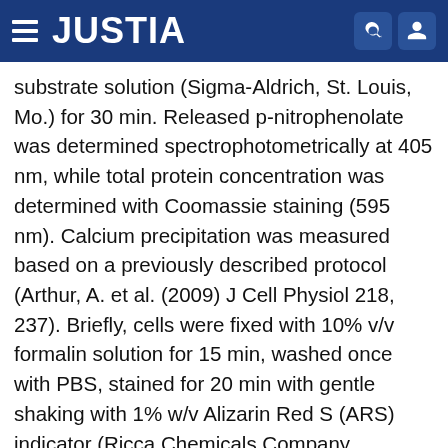JUSTIA
substrate solution (Sigma-Aldrich, St. Louis, Mo.) for 30 min. Released p-nitrophenolate was determined spectrophotometrically at 405 nm, while total protein concentration was determined with Coomassie staining (595 nm). Calcium precipitation was measured based on a previously described protocol (Arthur, A. et al. (2009) J Cell Physiol 218, 237). Briefly, cells were fixed with 10% v/v formalin solution for 15 min, washed once with PBS, stained for 20 min with gentle shaking with 1% w/v Alizarin Red S (ARS) indicator (Ricca Chemicals Company, Arlington, Tex.), washed twice with PBS and photographed with a Powershot A20001S camera (Canon, Lake Success, N.Y.). Then, samples were incubated with 10% v/v acetic acid for 30 min, scraped for further dissociation of cell layers, vortexed for 30 seconds and centrifuged at 16,100×g for 10 min. Optic density of the supernatants was measured at 405 nm. In